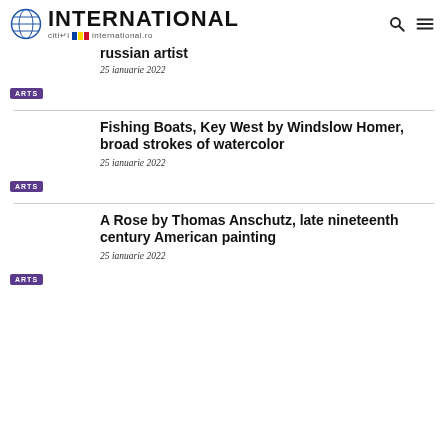INTERNATIONAL cititi international.ro
russian artist
25 ianuarie 2022
ARTS
Fishing Boats, Key West by Windslow Homer, broad strokes of watercolor
25 ianuarie 2022
ARTS
A Rose by Thomas Anschutz, late nineteenth century American painting
25 ianuarie 2022
ARTS